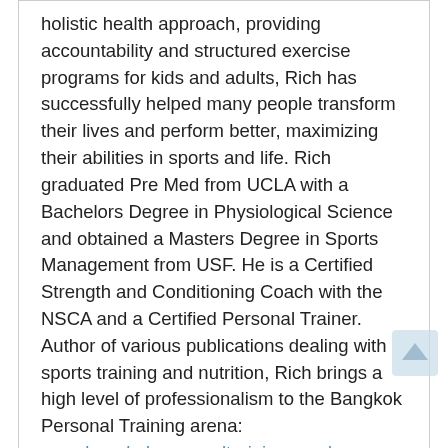holistic health approach, providing accountability and structured exercise programs for kids and adults, Rich has successfully helped many people transform their lives and perform better, maximizing their abilities in sports and life. Rich graduated Pre Med from UCLA with a Bachelors Degree in Physiological Science and obtained a Masters Degree in Sports Management from USF. He is a Certified Strength and Conditioning Coach with the NSCA and a Certified Personal Trainer. Author of various publications dealing with sports training and nutrition, Rich brings a high level of professionalism to the Bangkok Personal Training arena: www.bangkokpersonaltraining.wordpress.com.
3 thoughts on “Fitness is a Series of